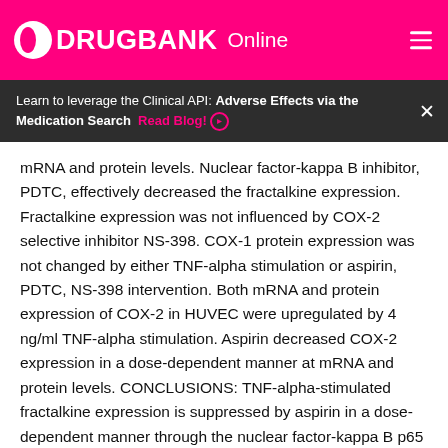DRUGBANK Online
Learn to leverage the Clinical API: Adverse Effects via the Medication Search  Read Blog!
mRNA and protein levels. Nuclear factor-kappa B inhibitor, PDTC, effectively decreased the fractalkine expression. Fractalkine expression was not influenced by COX-2 selective inhibitor NS-398. COX-1 protein expression was not changed by either TNF-alpha stimulation or aspirin, PDTC, NS-398 intervention. Both mRNA and protein expression of COX-2 in HUVEC were upregulated by 4 ng/ml TNF-alpha stimulation. Aspirin decreased COX-2 expression in a dose-dependent manner at mRNA and protein levels. CONCLUSIONS: TNF-alpha-stimulated fractalkine expression is suppressed by aspirin in a dose-dependent manner through the nuclear factor-kappa B p65 pathway.